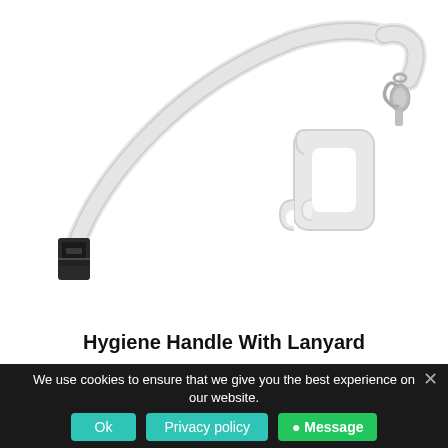[Figure (photo): A white lanyard with a black safety breakaway clip on the left side and a silver lobster claw clasp on the right, attached to a white plastic hygiene handle/door opener tool with hook features.]
Hygiene Handle With Lanyard
We use cookies to ensure that we give you the best experience on our website.
Ok  Privacy policy  × Message